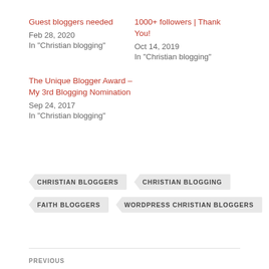Guest bloggers needed
Feb 28, 2020
In "Christian blogging"
1000+ followers | Thank You!
Oct 14, 2019
In "Christian blogging"
The Unique Blogger Award – My 3rd Blogging Nomination
Sep 24, 2017
In "Christian blogging"
CHRISTIAN BLOGGERS
CHRISTIAN BLOGGING
FAITH BLOGGERS
WORDPRESS CHRISTIAN BLOGGERS
PREVIOUS